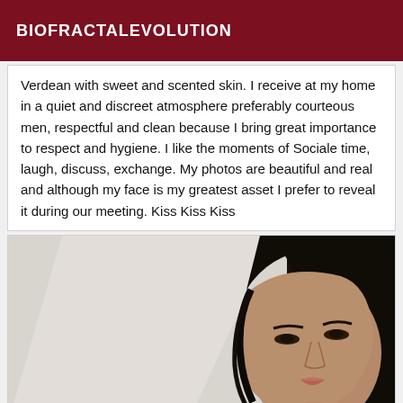BIOFRACTALEVOLUTION
Verdean with sweet and scented skin. I receive at my home in a quiet and discreet atmosphere preferably courteous men, respectful and clean because I bring great importance to respect and hygiene. I like the moments of Sociale time, laugh, discuss, exchange. My photos are beautiful and real and although my face is my greatest asset I prefer to reveal it during our meeting. Kiss Kiss Kiss
[Figure (photo): A woman with long dark hair, selfie-style photo, taken indoors against a light background. She is looking at the camera.]